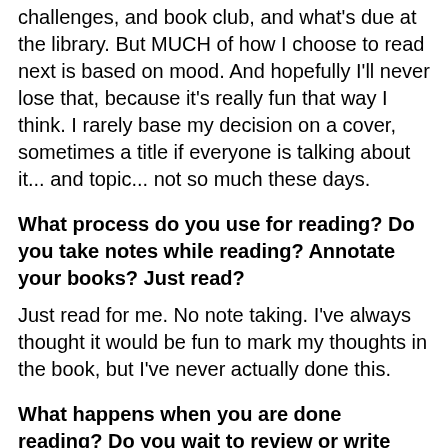challenges, and book club, and what's due at the library. But MUCH of how I choose to read next is based on mood. And hopefully I'll never lose that, because it's really fun that way I think. I rarely base my decision on a cover, sometimes a title if everyone is talking about it... and topic... not so much these days.
What process do you use for reading? Do you take notes while reading? Annotate your books? Just read?
Just read for me. No note taking. I've always thought it would be fun to mark my thoughts in the book, but I've never actually done this.
What happens when you are done reading? Do you wait to review or write immediately? Do you revisit and revise before posting?
I wait a bit to review it... a day or two maybe unless life is especially crazy. I don't spend a ton of time on reviews because I don't want to be stressed out or bogged down with them. I just want to let people know what my reaction is and